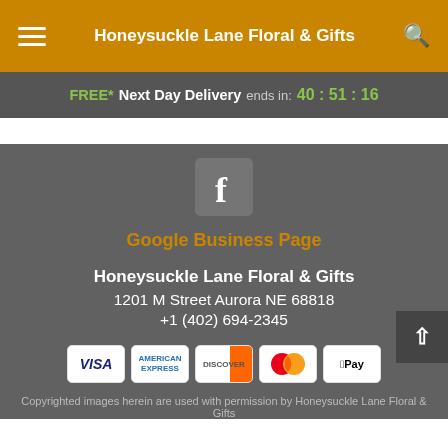Honeysuckle Lane Floral & Gifts
FREE* Next Day Delivery ends in: 40 : 51 : 16
[Figure (logo): Facebook logo icon in grey square]
Google Business Page
Honeysuckle Lane Floral & Gifts
1201 M Street Aurora NE 68818
+1 (402) 694-2345
[Figure (infographic): Payment method icons: Visa, American Express, Discover, Mastercard, Apple Pay]
Copyrighted images herein are used with permission by Honeysuckle Lane Floral & Gifts